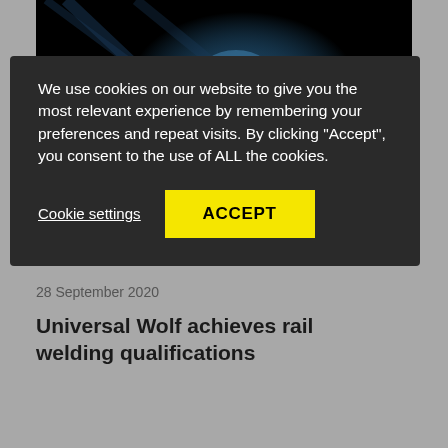[Figure (photo): Dark welding scene with blue sparks/light in industrial setting]
We use cookies on our website to give you the most relevant experience by remembering your preferences and repeat visits. By clicking “Accept”, you consent to the use of ALL the cookies.
Cookie settings
ACCEPT
28 September 2020
Universal Wolf achieves rail welding qualifications